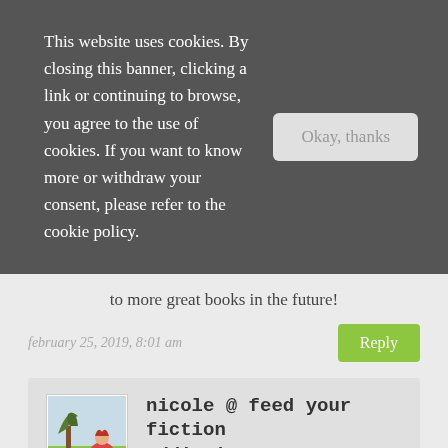This website uses cookies. By closing this banner, clicking a link or continuing to browse, you agree to the use of cookies. If you want to know more or withdraw your consent, please refer to the cookie policy.
Okay, thanks
to more great books in the future!
february 25, 2019, 8:01 am
Reply
nicole @ feed your fiction addiction
Thank you!
march 15, 2019, 11:18 am
Reply